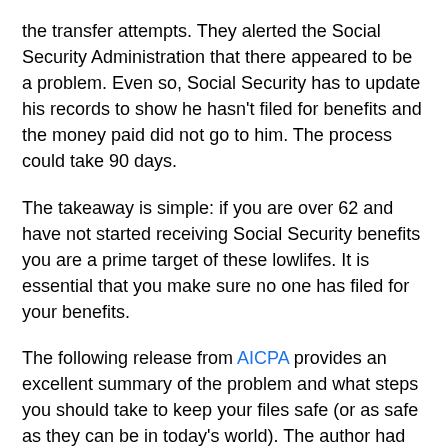the transfer attempts. They alerted the Social Security Administration that there appeared to be a problem. Even so, Social Security has to update his records to show he hasn't filed for benefits and the money paid did not go to him. The process could take 90 days.
The takeaway is simple: if you are over 62 and have not started receiving Social Security benefits you are a prime target of these lowlifes. It is essential that you make sure no one has filed for your benefits.
The following release from AICPA provides an excellent summary of the problem and what steps you should take to keep your files safe (or as safe as they can be in today's world). The author had his benefits misdirected, too. Even as a CPA he fell victim. In the following he is advising fellow CPA's what to do. His suggestions apply to everyone.
If you or your clients are at or nearing retirement age, you need to know that hackers are targeting social security accounts. I found out the hard way. My career as a CPA Personal Financial Specialist...